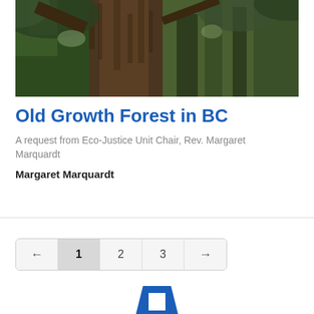[Figure (photo): Looking up at a large old-growth forest tree trunk with branches and foliage visible against the sky]
Old Growth Forest in BC
A request from Eco-Justice Unit Chair, Rev. Margaret Marquardt
Margaret Marquardt
← 1 2 3 →